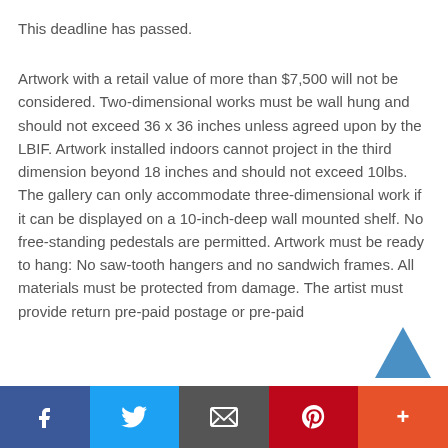This deadline has passed.
Artwork with a retail value of more than $7,500 will not be considered. Two-dimensional works must be wall hung and should not exceed 36 x 36 inches unless agreed upon by the LBIF. Artwork installed indoors cannot project in the third dimension beyond 18 inches and should not exceed 10lbs. The gallery can only accommodate three-dimensional work if it can be displayed on a 10-inch-deep wall mounted shelf. No free-standing pedestals are permitted. Artwork must be ready to hang: No saw-tooth hangers and no sandwich frames. All materials must be protected from damage. The artist must provide return pre-paid postage or pre-paid
[Figure (other): Scroll-up arrow button (blue upward-pointing chevron/arrow icon)]
[Figure (other): Social sharing bar with buttons: Facebook (blue), Twitter (light blue), Email (dark grey), Pinterest (red), More/Plus (orange-red)]